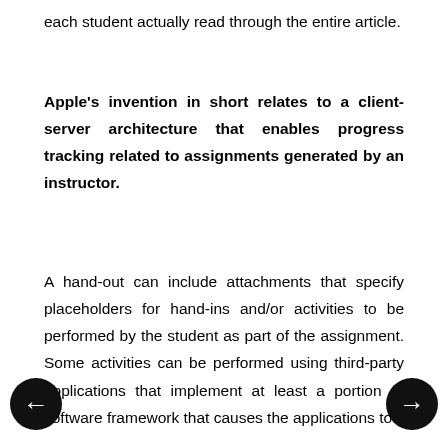each student actually read through the entire article.
Apple's invention in short relates to a client-server architecture that enables progress tracking related to assignments generated by an instructor.
A hand-out can include attachments that specify placeholders for hand-ins and/or activities to be performed by the student as part of the assignment. Some activities can be performed using third-party applications that implement at least a portion of software framework that causes the applications to